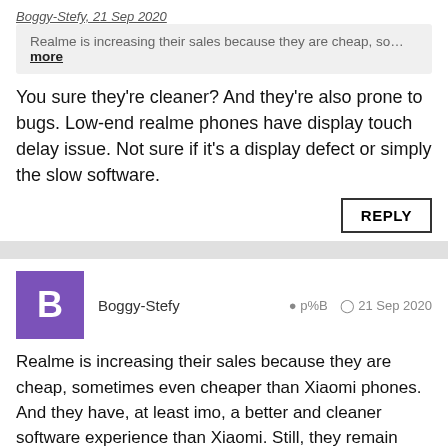Boggy-Stefy, 21 Sep 2020
Realme is increasing their sales because they are cheap, so... more
You sure they're cleaner? And they're also prone to bugs. Low-end realme phones have display touch delay issue. Not sure if it's a display defect or simply the slow software.
REPLY
Boggy-Stefy  p%B  21 Sep 2020
Realme is increasing their sales because they are cheap, sometimes even cheaper than Xiaomi phones. And they have, at least imo, a better and cleaner software experience than Xiaomi. Still, they remain Chinese phones. Long term usage is a 50-50 business. You might end up with a good model phone, or not. Depends on the luck.
REPLY